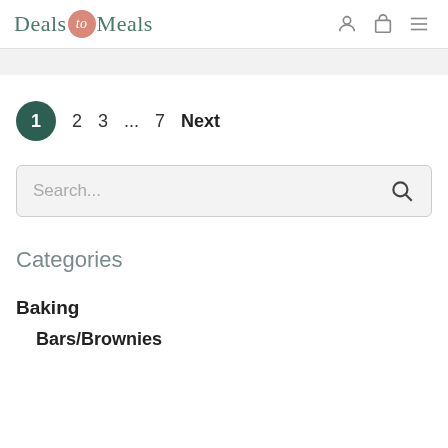Deals to Meals
1  2  3  ...  7  Next
Search...
Categories
Baking
Bars/Brownies